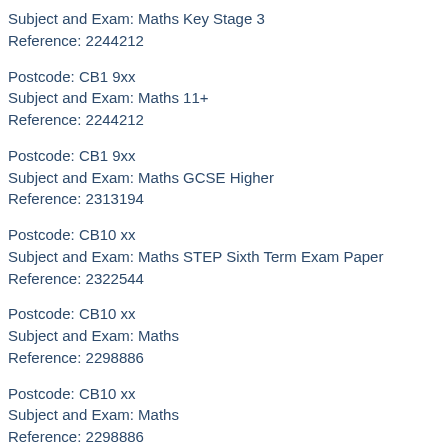Subject and Exam: Maths Key Stage 3
Reference: 2244212
Postcode: CB1 9xx
Subject and Exam: Maths 11+
Reference: 2244212
Postcode: CB1 9xx
Subject and Exam: Maths GCSE Higher
Reference: 2313194
Postcode: CB10 xx
Subject and Exam: Maths STEP Sixth Term Exam Paper
Reference: 2322544
Postcode: CB10 xx
Subject and Exam: Maths
Reference: 2298886
Postcode: CB10 xx
Subject and Exam: Maths
Reference: 2298886
Postcode: CB10 xx
Subject and Exam: Maths